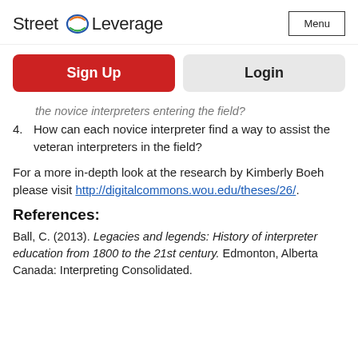Street Leverage | Menu
Sign Up | Login
the novice interpreters entering the field?
4. How can each novice interpreter find a way to assist the veteran interpreters in the field?
For a more in-depth look at the research by Kimberly Boeh please visit http://digitalcommons.wou.edu/theses/26/.
References:
Ball, C. (2013). Legacies and legends: History of interpreter education from 1800 to the 21st century. Edmonton, Alberta Canada: Interpreting Consolidated.